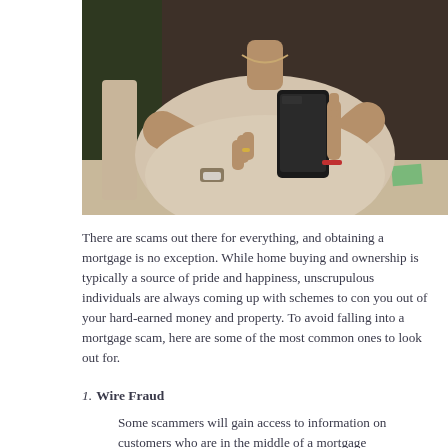[Figure (photo): A woman wearing a beige top and a watch sitting at a desk, looking down at a black smartphone she is holding with both hands. Papers are visible on the desk in the background.]
There are scams out there for everything, and obtaining a mortgage is no exception. While home buying and ownership is typically a source of pride and happiness, unscrupulous individuals are always coming up with schemes to con you out of your hard-earned money and property. To avoid falling into a mortgage scam, here are some of the most common ones to look out for.
Wire Fraud
Some scammers will gain access to information on customers who are in the middle of a mortgage transaction. They will then create a very convincing email, text, or phone call, claiming to be someone